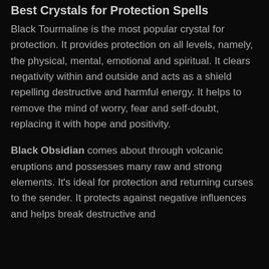Best Crystals for Protection Spells
Black Tourmaline is the most popular crystal for protection. It provides protection on all levels, namely, the physical, mental, emotional and spiritual. It clears negativity within and outside and acts as a shield repelling destructive and harmful energy. It helps to remove the mind of worry, fear and self-doubt, replacing it with hope and positivity.
Black Obsidian comes about through volcanic eruptions and possesses many raw and strong elements. It's ideal for protection and returning curses to the sender. It protects against negative influences and helps break destructive and...